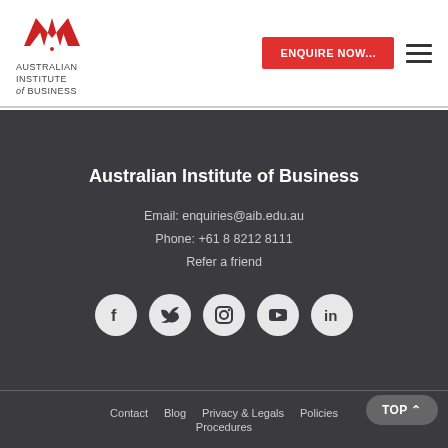[Figure (logo): Australian Institute of Business logo with red stylized bird/flame and text 'AUSTRALIAN INSTITUTE of BUSINESS']
[Figure (screenshot): ENQUIRE NOW... red button and hamburger menu icon]
Australian Institute of Business
Email: enquiries@aib.edu.au
Phone: +61 8 8212 8111
Refer a friend
[Figure (illustration): Social media icons: Facebook, Twitter, Instagram, YouTube, LinkedIn — white icons on dark grey circles]
Contact  Blog  Privacy & Legals  Policies  Procedures